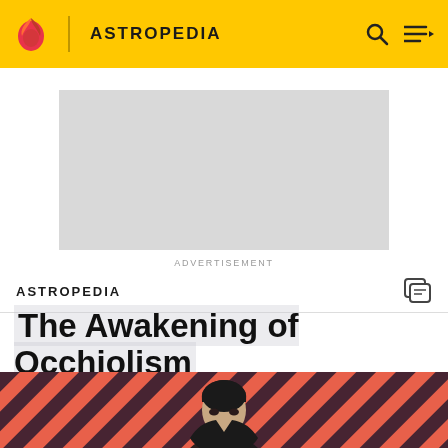ASTROPEDIA
[Figure (other): Advertisement placeholder gray rectangle]
ADVERTISEMENT
ASTROPEDIA
The Awakening of Occhiolism
[Figure (photo): Hero image with diagonal coral and dark purple stripes background and a dark-haired person in dark clothing looking intense, cropped from waist up]